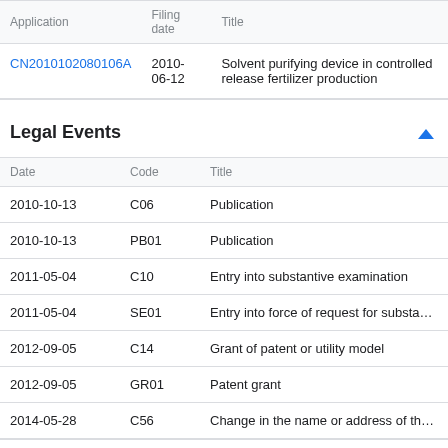| Application | Filing date | Title |
| --- | --- | --- |
| CN2010102080106A | 2010-06-12 | Solvent purifying device in controlled release fertilizer production |
Legal Events
| Date | Code | Title |
| --- | --- | --- |
| 2010-10-13 | C06 | Publication |
| 2010-10-13 | PB01 | Publication |
| 2011-05-04 | C10 | Entry into substantive examination |
| 2011-05-04 | SE01 | Entry into force of request for substantive exa |
| 2012-09-05 | C14 | Grant of patent or utility model |
| 2012-09-05 | GR01 | Patent grant |
| 2014-05-28 | C56 | Change in the name or address of the patenth |